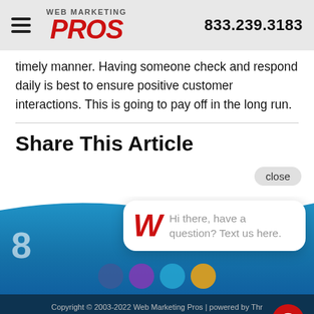WEB MARKETING PROS  833.239.3183
timely manner. Having someone check and respond daily is best to ensure positive customer interactions. This is going to pay off in the long run.
Share This Article
close
[Figure (screenshot): Blue section with partial phone number '8' visible and a chat popup bubble containing a red W logo and text 'Hi there, have a question? Text us here.']
Copyright © 2003-2022 Web Marketing Pros | powered by Thr 4611 E. Airline Rd., Suite 200, Victoria, TX. 77904 - 800.771.2... Privacy Policy & Terms & Conditions | Site Map